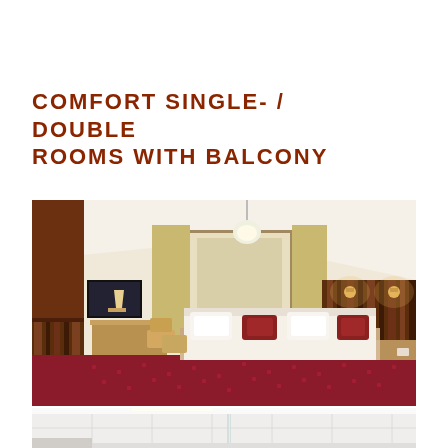COMFORT SINGLE- / DOUBLE ROOMS WITH BALCONY
[Figure (photo): Hotel comfort double room interior with red patterned carpet, double bed with white pillows, wooden headboard wall with warm lighting, desk and TV area near window with curtains and pendant ceiling light]
[Figure (photo): Hotel bathroom interior showing white tiled walls and glass shower partition]